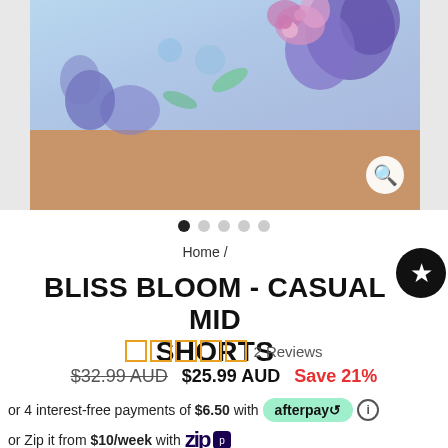[Figure (photo): Close-up photo of a person wearing floral print mid shorts (Bliss Bloom pattern) with purple and pink flowers on a light blue background. Shows waist/hip/thigh area.]
Home /
BLISS BLOOM - CASUAL MID SHORTS
2 Reviews
$32.99 AUD  $25.99 AUD  Save 21%
or 4 interest-free payments of $6.50 with afterpay
or Zip it from $10/week with